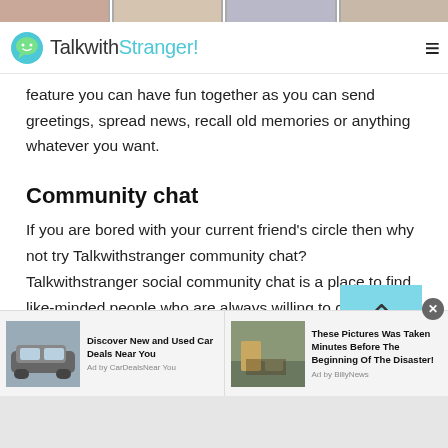[Figure (photo): Top strip of small thumbnail photos of people's faces]
TalkwithStranger!
feature you can have fun together as you can send greetings, spread news, recall old memories or anything whatever you want.
Community chat
If you are bored with your current friend's circle then why not try Talkwithstranger community chat? Talkwithstranger social community chat is a place to find like-minded people who are always willing to connect and discuss different topics of interests.
[Figure (screenshot): Advertisement bar with two ads: 'Discover New and Used Car Deals Near You' by CarDealsNearYou and 'These Pictures Was Taken Minutes Before The Beginning Of The Disaster!' by BillyNews]